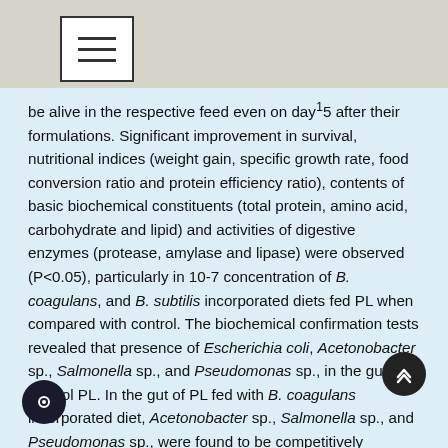[Figure (other): Navigation menu icon (hamburger) in top-left header bar]
be alive in the respective feed even on day¹5 after their formulations. Significant improvement in survival, nutritional indices (weight gain, specific growth rate, food conversion ratio and protein efficiency ratio), contents of basic biochemical constituents (total protein, amino acid, carbohydrate and lipid) and activities of digestive enzymes (protease, amylase and lipase) were observed (P<0.05), particularly in 10-7 concentration of B. coagulans, and B. subtilis incorporated diets fed PL when compared with control. The biochemical confirmation tests revealed that presence of Escherichia coli, Acetonobacter sp., Salmonella sp., and Pseudomonas sp., in the gut of control PL. In the gut of PL fed with B. coagulans incorporated diet, Acetonobacter sp., Salmonella sp., and Pseudomonas sp., were found to be competitively excluded, whereas, in the gut of PL fed with B. subtilis incorporated diet, Acetonobacter sp., and Salmonella sp., only were found to be excluded competitively. Actually, colonies of Bacillus sp., and Lactobacillus sp., were found to be establishment in the gut of PL fed with B. coagulans,